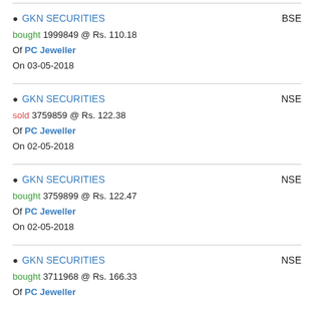GKN SECURITIES bought 1999849 @ Rs. 110.18 Of PC Jeweller On 03-05-2018 BSE
GKN SECURITIES sold 3759859 @ Rs. 122.38 Of PC Jeweller On 02-05-2018 NSE
GKN SECURITIES bought 3759899 @ Rs. 122.47 Of PC Jeweller On 02-05-2018 NSE
GKN SECURITIES bought 3711968 @ Rs. 166.33 Of PC Jeweller NSE